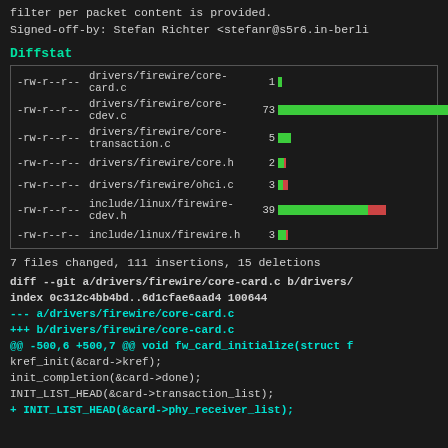filter per packet content is provided.
Signed-off-by: Stefan Richter <stefanr@s5r6.in-berli
Diffstat
[Figure (other): Diffstat table showing file changes with permission flags, filenames, change counts and colored bar indicators. Files: drivers/firewire/core-card.c (1), drivers/firewire/core-cdev.c (73), drivers/firewire/core-transaction.c (5), drivers/firewire/core.h (2), drivers/firewire/ohci.c (3), include/linux/firewire-cdev.h (39), include/linux/firewire.h (3)]
7 files changed, 111 insertions, 15 deletions
diff --git a/drivers/firewire/core-card.c b/drivers/
index 0c312c4bb4bd..6d1cfae6aad4 100644
--- a/drivers/firewire/core-card.c
+++ b/drivers/firewire/core-card.c
@@ -500,6 +500,7 @@ void fw_card_initialize(struct f
        kref_init(&card->kref);
        init_completion(&card->done);
        INIT_LIST_HEAD(&card->transaction_list);
+       INIT_LIST_HEAD(&card->phy_receiver_list);